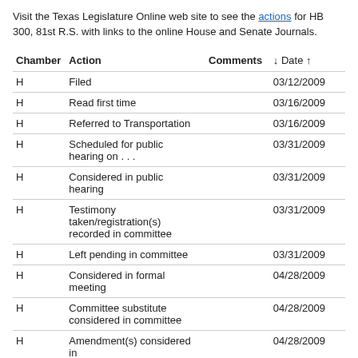Visit the Texas Legislature Online web site to see the actions for HB 300, 81st R.S. with links to the online House and Senate Journals.
| Chamber | Action | Comments | ↓ Date ↑ |
| --- | --- | --- | --- |
| H | Filed |  | 03/12/2009 |
| H | Read first time |  | 03/16/2009 |
| H | Referred to Transportation |  | 03/16/2009 |
| H | Scheduled for public hearing on . . . |  | 03/31/2009 |
| H | Considered in public hearing |  | 03/31/2009 |
| H | Testimony taken/registration(s) recorded in committee |  | 03/31/2009 |
| H | Left pending in committee |  | 03/31/2009 |
| H | Considered in formal meeting |  | 04/28/2009 |
| H | Committee substitute considered in committee |  | 04/28/2009 |
| H | Amendment(s) considered in |  | 04/28/2009 |